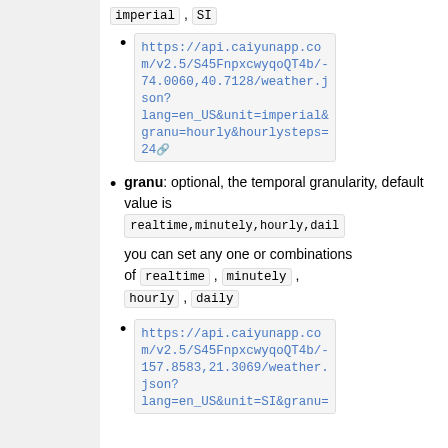imperial , SI
https://api.caiyunapp.com/v2.5/S45FnpxcwyqoQT4b/-74.0060,40.7128/weather.json?lang=en_US&unit=imperial&granu=hourly&hourlysteps=24
granu: optional, the temporal granularity, default value is realtime,minutely,hourly,daily you can set any one or combinations of realtime , minutely , hourly , daily
https://api.caiyunapp.com/v2.5/S45FnpxcwyqoQT4b/-157.8583,21.3069/weather.json?lang=en_US&unit=SI&granu=